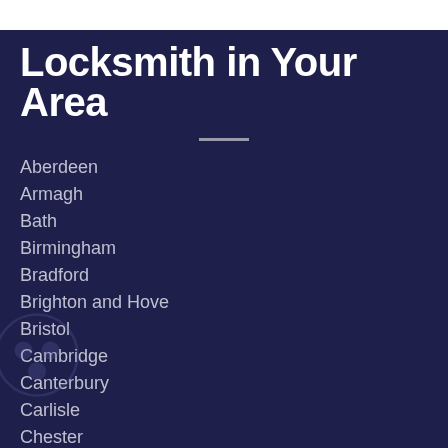Locksmith in Your Area
Aberdeen
Armagh
Bath
Birmingham
Bradford
Brighton and Hove
Bristol
Cambridge
Canterbury
Carlisle
Chester
Chichester
Coventry